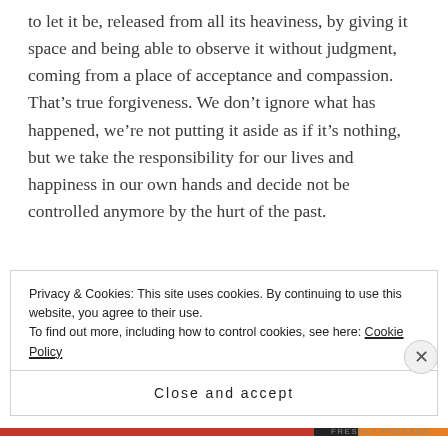to let it be, released from all its heaviness, by giving it space and being able to observe it without judgment, coming from a place of acceptance and compassion. That's true forgiveness. We don't ignore what has happened, we're not putting it aside as if it's nothing, but we take the responsibility for our lives and happiness in our own hands and decide not be controlled anymore by the hurt of the past.
This is a process that takes time and it's not an easy one either. The bigger the infected wound, the more time is needed
Privacy & Cookies: This site uses cookies. By continuing to use this website, you agree to their use.
To find out more, including how to control cookies, see here: Cookie Policy
Close and accept